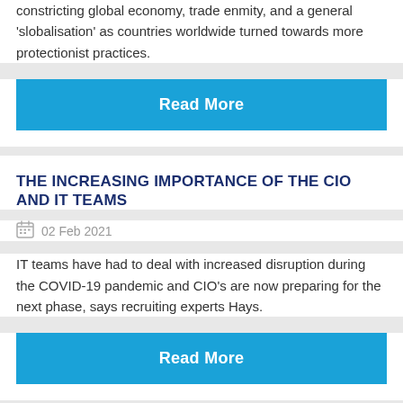constricting global economy, trade enmity, and a general 'slobalisation' as countries worldwide turned towards more protectionist practices.
Read More
THE INCREASING IMPORTANCE OF THE CIO AND IT TEAMS
02 Feb 2021
IT teams have had to deal with increased disruption during the COVID-19 pandemic and CIO's are now preparing for the next phase, says recruiting experts Hays.
Read More